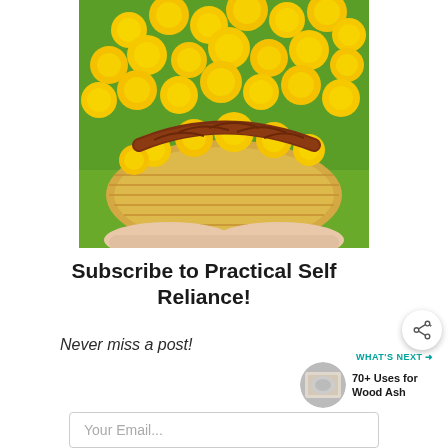[Figure (photo): Hands holding a woven basket filled with bright yellow dandelion flowers, with a braided leather handle resting across the top of the basket.]
Subscribe to Practical Self Reliance!
Never miss a post!
[Figure (infographic): Share button icon (circle with share symbol)]
WHAT'S NEXT → 70+ Uses for Wood Ash
Your Email...